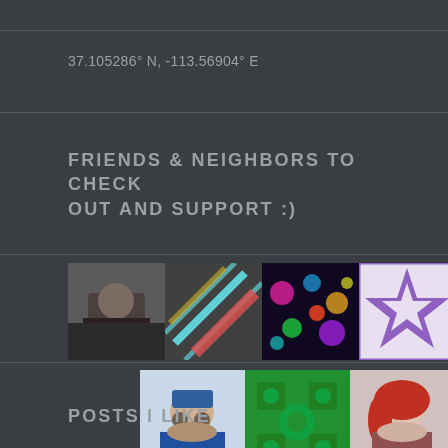37.105286° N, -113.56904° E
FRIENDS & NEIGHBORS TO CHECK OUT AND SUPPORT :)
[Figure (photo): Row of thumbnail profile photos of friends and neighbors, 7 thumbnails in first row and 3 in second row]
POSTS I LIKE